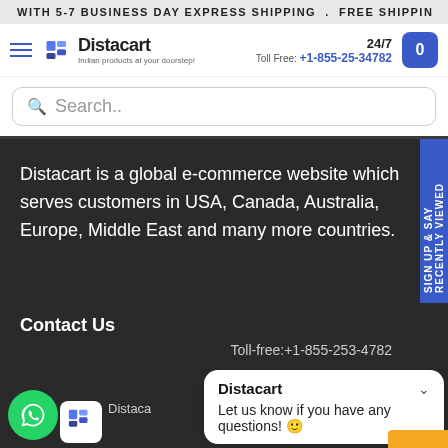WITH 5-7 BUSINESS DAY EXPRESS SHIPPING . FREE SHIPPIN
[Figure (logo): Distacart logo with tagline 'Indian products at your doorstep']
24/7
Toll Free: +1-855-25-34782
Search..
Distacart is a global e-commerce website which serves customers in USA, Canada, Australia, Europe, Middle East and many more countries.
Contact Us
Toll-free:+1-855-253-4782
Distaca
Distacart
Let us know if you have any questions! 🙂